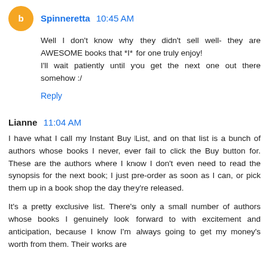Spinneretta  10:45 AM
Well I don't know why they didn't sell well- they are AWESOME books that *I* for one truly enjoy!
I'll wait patiently until you get the next one out there somehow :/
Reply
Lianne  11:04 AM
I have what I call my Instant Buy List, and on that list is a bunch of authors whose books I never, ever fail to click the Buy button for. These are the authors where I know I don't even need to read the synopsis for the next book; I just pre-order as soon as I can, or pick them up in a book shop the day they're released.
It's a pretty exclusive list. There's only a small number of authors whose books I genuinely look forward to with excitement and anticipation, because I know I'm always going to get my money's worth from them. Their works are